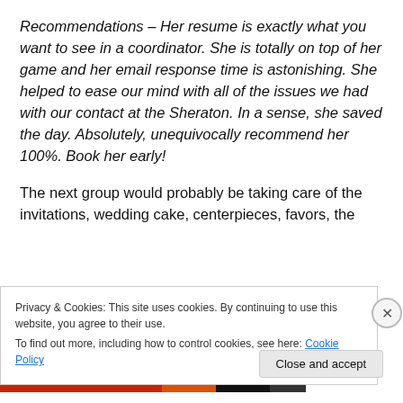Recommendations – Her resume is exactly what you want to see in a coordinator. She is totally on top of her game and her email response time is astonishing. She helped to ease our mind with all of the issues we had with our contact at the Sheraton. In a sense, she saved the day. Absolutely, unequivocally recommend her 100%. Book her early!
The next group would probably be taking care of the invitations, wedding cake, centerpieces, favors, the wedding...
Privacy & Cookies: This site uses cookies. By continuing to use this website, you agree to their use.
To find out more, including how to control cookies, see here: Cookie Policy
Close and accept